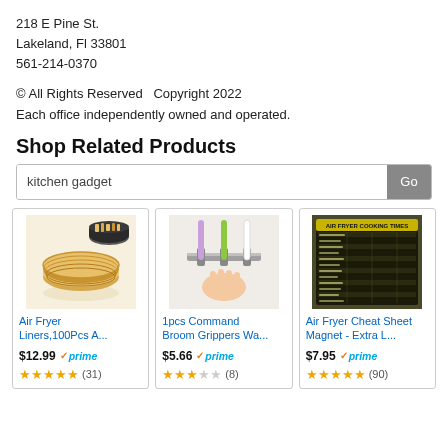218 E Pine St.
Lakeland, Fl 33801
561-214-0370
© All Rights Reserved  Copyright 2022
Each office independently owned and operated.
Shop Related Products
kitchen gadget [search box]
[Figure (photo): Air Fryer Liners product photo - woven basket liners]
Air Fryer Liners,100Pcs A...
$12.99 ✓prime
★★★★★ (31)
[Figure (photo): 1pcs Command Broom Grippers product photo - wall mounted holders]
1pcs Command Broom Grippers Wa...
$5.66 ✓prime
★★★☆☆ (8)
[Figure (photo): Air Fryer Cheat Sheet Magnet product photo - cooking times chart]
Air Fryer Cheat Sheet Magnet - Extra L...
$7.95 ✓prime
★★★★★ (90)